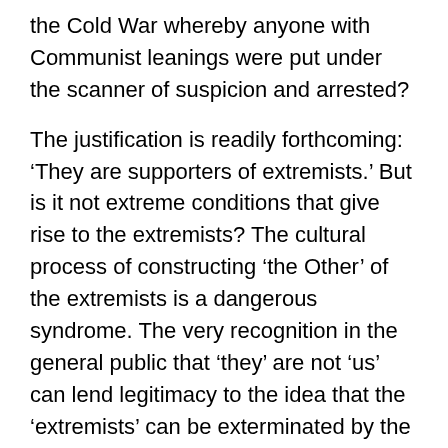the Cold War whereby anyone with Communist leanings were put under the scanner of suspicion and arrested?
The justification is readily forthcoming: ‘They are supporters of extremists.’ But is it not extreme conditions that give rise to the extremists? The cultural process of constructing ‘the Other’ of the extremists is a dangerous syndrome. The very recognition in the general public that ‘they’ are not ‘us’ can lend legitimacy to the idea that the ‘extremists’ can be exterminated by the State or other ‘interested’ forces like the Salwa Judum (meaning. ‘peace movement’) or the ‘people’s militia’ being set up by mainstream parties like the CPI-M. The terms such as, ‘peace’ and ‘people’ invoke the privilege to kill mercilessly.
One might pause to ask, ‘Why is not the UAPA, 2008 applicable to Bal Thackeray who has, for decades, led the